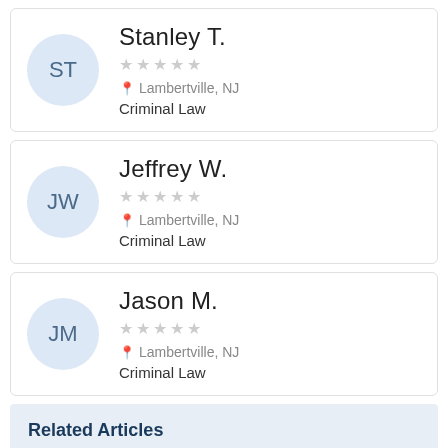ST — Stanley T. | ☆☆☆☆☆ | Lambertville, NJ | Criminal Law
JW — Jeffrey W. | ☆☆☆☆☆ | Lambertville, NJ | Criminal Law
JM — Jason M. | ☆☆☆☆☆ | Lambertville, NJ | Criminal Law
Related Articles